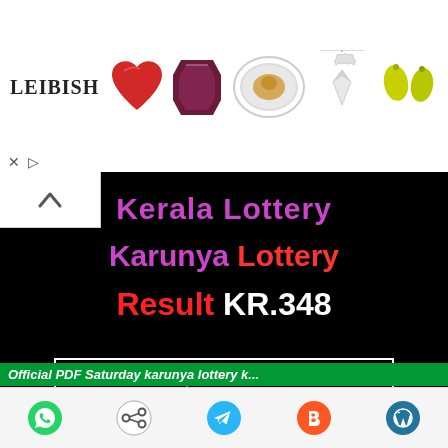[Figure (illustration): Leibish jewelry advertisement banner with logo and gemstone/jewelry images including ruby heart, garnet emerald cut, diamond ring, diamond pendant necklace, and green pear drops]
Kerala Lottery
Karunya Lottery
Result KR.348
"Yesterday-Previous Kerala Lottery Results"
Official PDF Saturday karunya lottery k...
[Figure (infographic): Mobile browser bottom toolbar with WhatsApp, share, Telegram, Blogger, and WordPress icon buttons]